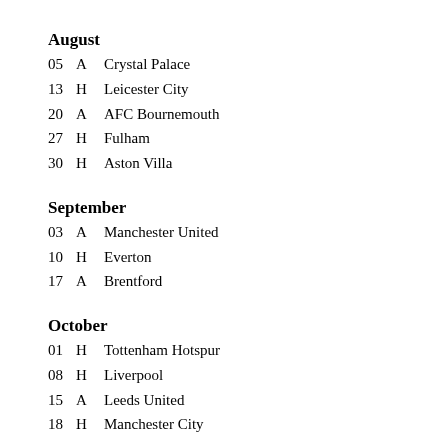August
05  A  Crystal Palace
13  H  Leicester City
20  A  AFC Bournemouth
27  H  Fulham
30  H  Aston Villa
September
03  A  Manchester United
10  H  Everton
17  A  Brentford
October
01  H  Tottenham Hotspur
08  H  Liverpool
15  A  Leeds United
18  H  Manchester City